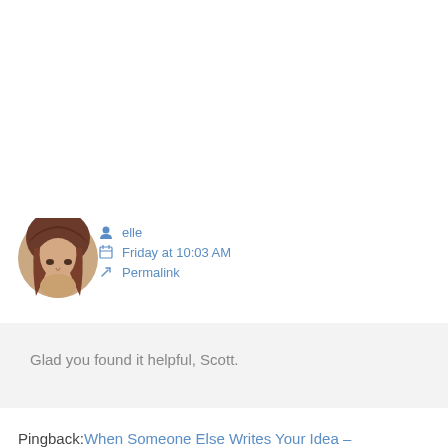[Figure (photo): Circular avatar photo of a young woman with reddish-brown hair, smiling]
elle
Friday at 10:03 AM
Permalink
Glad you found it helpful, Scott.
Pingback: When Someone Else Writes Your Idea – HearWriteNow
Comments are closed.